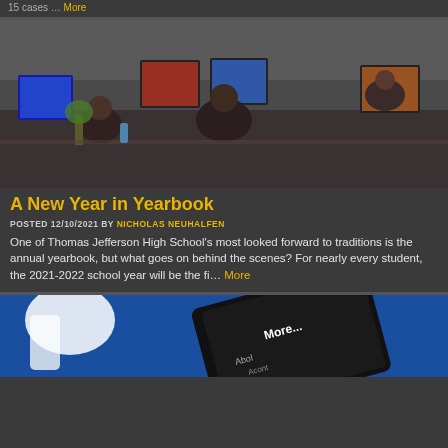15 cases … More
[Figure (photo): Students working at computers in a classroom/media room setting, viewed from behind and from the side. Multiple computer monitors visible.]
A New Year in Yearbook
POSTED 12/10/2021 BY NICHOLAS NEUHALFEN
One of Thomas Jefferson High School's most looked forward to traditions is the annual yearbook, but what goes on behind the scenes? For nearly every student, the 2021-2022 school year will be the fi… More
[Figure (photo): Close-up of a smartphone screen showing a social media app interface, with blue background and white text/icons including the word 'More'.]